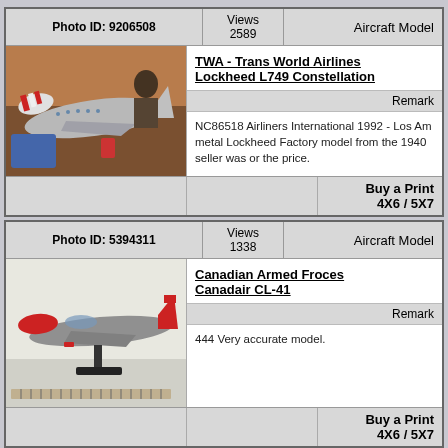| Photo ID: 9206508 | Views 2589 | Aircraft Model |
| --- | --- | --- |
| [photo of TWA Lockheed L749 Constellation model] | TWA - Trans World Airlines Lockheed L749 Constellation | Remark | NC86518 Airliners International 1992 - Los Am... metal Lockheed Factory model from the 1940... seller was or the price. |  |
|  |  | Buy a Print 4X6 / 5X7 |
| Photo ID: 5394311 | Views 1338 | Aircraft Model |
| --- | --- | --- |
| [photo of Canadian Armed Forces Canadair CL-41 model] | Canadian Armed Froces Canadair CL-41 | Remark | 444 Very accurate model. |  |
|  |  | Buy a Print 4X6 / 5X7 |